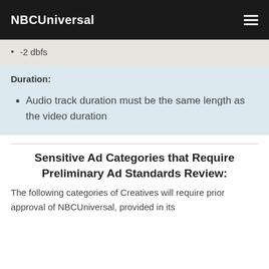NBCUniversal
-2 dbfs
Duration:
Audio track duration must be the same length as the video duration
Sensitive Ad Categories that Require Preliminary Ad Standards Review:
The following categories of Creatives will require prior approval of NBCUniversal, provided in its